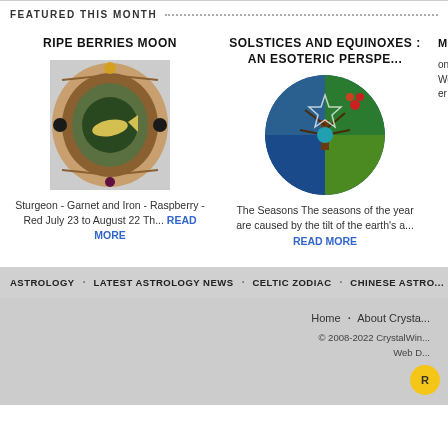FEATURED THIS MONTH
RIPE BERRIES MOON
[Figure (illustration): Circular dreamcatcher-style illustration with orange/brown border, fish and nature imagery inside]
Sturgeon - Garnet and Iron - Raspberry - Red July 23 to August 22 Th... READ MORE
SOLSTICES AND EQUINOXES : AN ESOTERIC PERSPE...
[Figure (illustration): Circular illustration depicting the four seasons with tree, star/pentagram, and colorful seasonal imagery]
The Seasons The seasons of the year are caused by the tilt of the earth's a... READ MORE
ASTROLOGY · LATEST ASTROLOGY NEWS · CELTIC ZODIAC · CHINESE ASTRO...
Home · About Crysta...
© 2008-2022 CrystalWin... Web D...